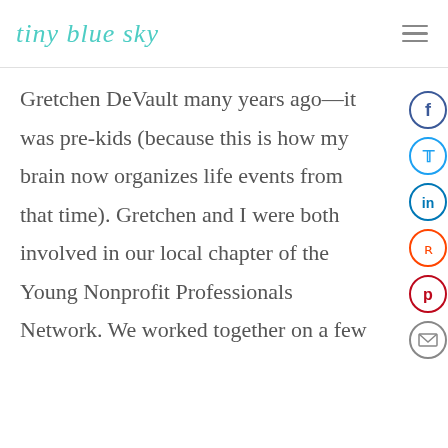tiny blue sky
Gretchen DeVault many years ago—it was pre-kids (because this is how my brain now organizes life events from that time). Gretchen and I were both involved in our local chapter of the Young Nonprofit Professionals Network. We worked together on a few
[Figure (infographic): Vertical stack of social sharing icons: Facebook (dark blue circle), Twitter (light blue circle), LinkedIn (dark blue circle), Reddit (orange circle), Pinterest (red circle), Email (gray circle)]